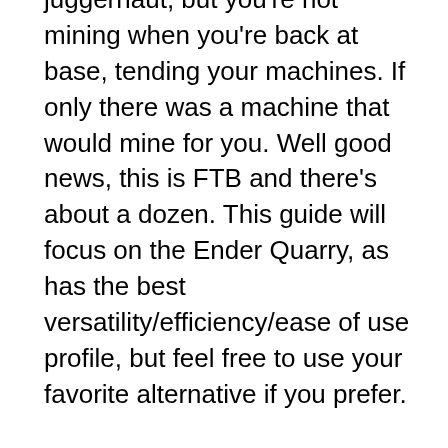juggernaut, but you're not mining when you're back at base, tending your machines. If only there was a machine that would mine for you. Well good news, this is FTB and there's about a dozen. This guide will focus on the Ender Quarry, as has the best versatility/efficiency/ease of use profile, but feel free to use your favorite alternative if you prefer.
The special Ender Quarry recipe in Infinity Evolved Expert mode involves 8 different items, 5 of which are powerful machines on their own. To build all these you will need close to a dozen different machines, notably the AE2 Inscriber (which you can power with RF) and the MFR Slaughterhouse for Pink Slime.
The Inscriber is challenging as it involves not only